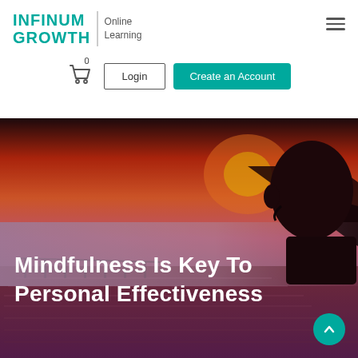[Figure (logo): Infinum Growth Online Learning logo with teal text and grey divider]
[Figure (infographic): Navigation bar with shopping cart (0 items), Login button, and Create an Account button (teal)]
[Figure (photo): Hero background photo of a person silhouette against a red-orange sunset over water with mountains, overlaid with large white text]
Mindfulness Is Key To Personal Effectiveness